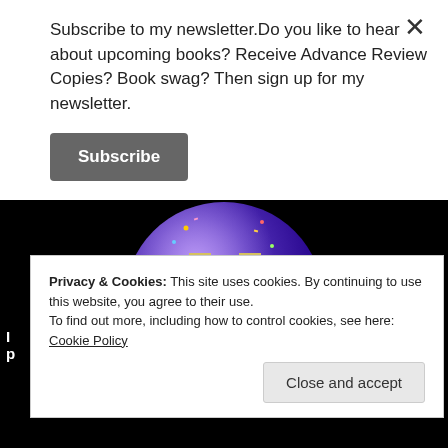Subscribe to my newsletter.Do you like to hear about upcoming books? Receive Advance Review Copies? Book swag? Then sign up for my newsletter.
Subscribe
[Figure (illustration): Purple sphere badge with champagne glasses and confetti, text reading READERS' AWARD on a black background]
Privacy & Cookies: This site uses cookies. By continuing to use this website, you agree to their use. To find out more, including how to control cookies, see here: Cookie Policy
Close and accept